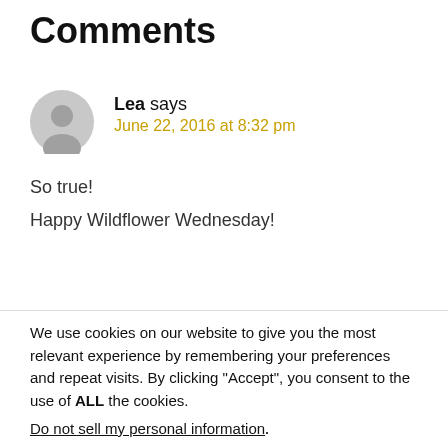Comments
Lea says
June 22, 2016 at 8:32 pm
So true!
Happy Wildflower Wednesday!
We use cookies on our website to give you the most relevant experience by remembering your preferences and repeat visits. By clicking “Accept”, you consent to the use of ALL the cookies.
Do not sell my personal information.